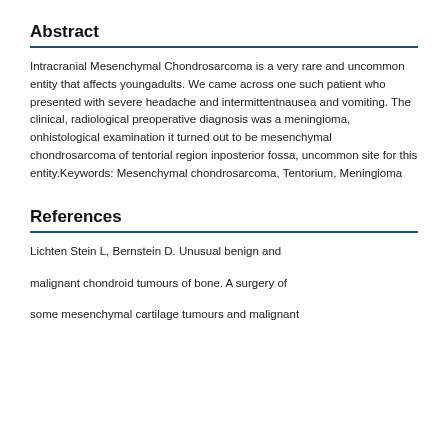Abstract
Intracranial Mesenchymal Chondrosarcoma is a very rare and uncommon entity that affects youngadults. We came across one such patient who presented with severe headache and intermittentnausea and vomiting. The clinical, radiological preoperative diagnosis was a meningioma, onhistological examination it turned out to be mesenchymal chondrosarcoma of tentorial region inposterior fossa, uncommon site for this entity.Keywords: Mesenchymal chondrosarcoma, Tentorium, Meningioma
References
Lichten Stein L, Bernstein D. Unusual benign and

malignant chondroid tumours of bone. A surgery of

some mesenchymal cartilage tumours and malignant